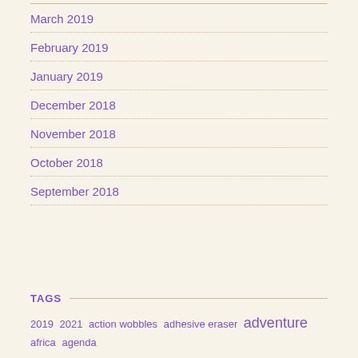March 2019
February 2019
January 2019
December 2018
November 2018
October 2018
September 2018
TAGS
2019 2021 action wobbles adhesive eraser adventure africa agenda